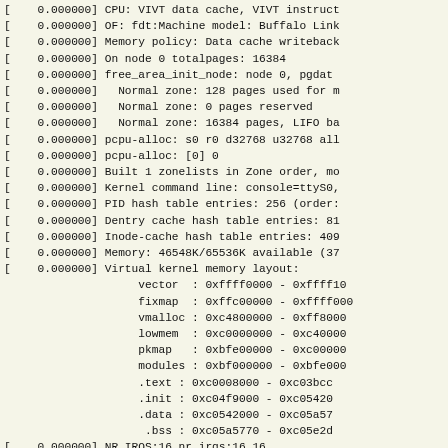[    0.000000] CPU: VIVT data cache, VIVT instruct
[    0.000000] OF: fdt:Machine model: Buffalo Link
[    0.000000] Memory policy: Data cache writeback
[    0.000000] On node 0 totalpages: 16384
[    0.000000] free_area_init_node: node 0, pgdat
[    0.000000]   Normal zone: 128 pages used for m
[    0.000000]   Normal zone: 0 pages reserved
[    0.000000]   Normal zone: 16384 pages, LIFO ba
[    0.000000] pcpu-alloc: s0 r0 d32768 u32768 all
[    0.000000] pcpu-alloc: [0] 0
[    0.000000] Built 1 zonelists in Zone order, mo
[    0.000000] Kernel command line: console=ttyS0,
[    0.000000] PID hash table entries: 256 (order:
[    0.000000] Dentry cache hash table entries: 81
[    0.000000] Inode-cache hash table entries: 409
[    0.000000] Memory: 46548K/65536K available (37
[    0.000000] Virtual kernel memory layout:
                    vector  : 0xffff0000 - 0xffff10
                    fixmap  : 0xffc00000 - 0xffff000
                    vmalloc : 0xc4800000 - 0xff8000
                    lowmem  : 0xc0000000 - 0xc40000
                    pkmap   : 0xbfe00000 - 0xc00000
                    modules : 0xbf000000 - 0xbfe000
                    .text : 0xc0008000 - 0xc03bcc
                    .init : 0xc04f9000 - 0xc05420
                    .data : 0xc0542000 - 0xc05a57
                     .bss : 0xc05a5770 - 0xc05e2d
[    0.000000] NR_IRQS:16 nr_irqs:16 16
[    0.000000] clocksource: orion_clocksource: mas
[    0.000015] sched_clock: 32 bits at 166MHz, res